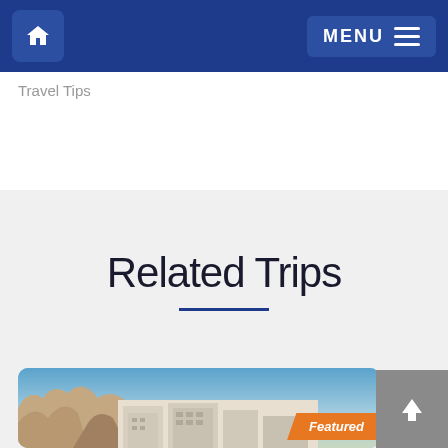Travel Tips
Related Trips
[Figure (photo): Hotel resort building with rocky mountain backdrop under blue sky, with orange 'Featured' badge in lower right corner]